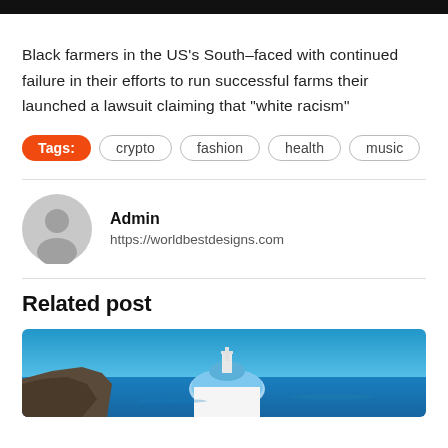m...n
Black farmers in the US's South—faced with continued failure in their efforts to run successful farms their launched a lawsuit claiming that “white racism”
Tags: crypto fashion health music
Admin
https://worldbestdesigns.com
Related post
[Figure (photo): Aerial view of Santorini blue dome church with blue sea and rocky cliff in the background]